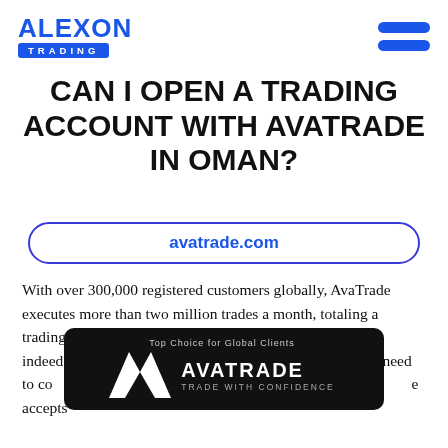[Figure (logo): Alexon Trading logo — blue bold text ALEXON above a blue rectangle with white text TRADING]
[Figure (other): Blue hamburger menu icon with two rounded pill-shaped bars]
CAN I OPEN A TRADING ACCOUNT WITH AVATRADE IN OMAN?
avatrade.com
With over 300,000 registered customers globally, AvaTrade executes more than two million trades a month, totaling a trading volume that overpasses $70 billion per month. It is indeed one of the largest forex and CFD brokers. But you need to consider whether it accepts accounts in Oman, and whether it accepts
[Figure (logo): AvaTrade dark overlay banner with logo mark, brand name AVATRADE and tagline TRADE WITH CONFIDENCE, and top label Top Choice for Global Clients]